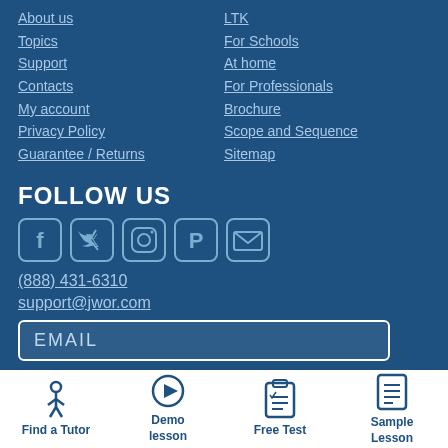About us
Topics
Support
Contacts
My account
Privacy Policy
Guarantee / Returns
LTK
For Schools
At home
For Professionals
Brochure
Scope and Sequence
Sitemap
FOLLOW US
[Figure (infographic): Social media icons: Facebook, Twitter, Instagram, Pinterest, Email]
(888) 431-6310
support@jwor.com
EMAIL
[Figure (infographic): Bottom navigation icons: Find a Tutor (person icon), Demo lesson (play button icon), Free Test (checklist icon), Sample Lesson (document icon)]